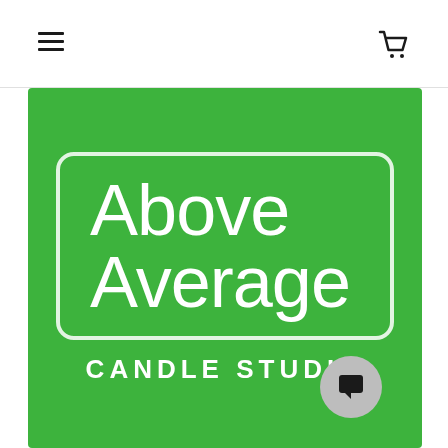Navigation header with hamburger menu and shopping cart icon
[Figure (logo): Above Average Candle Studio logo: white rounded rectangle on green background with large white text 'Above Average' and 'CANDLE STUDIO' below in white capitals]
[Figure (other): Chat bubble / support icon in grey circle at bottom right of green logo image]